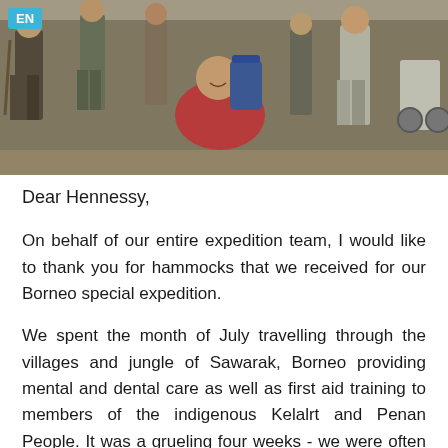[Figure (photo): Group photo of expedition team members outdoors, some crouching and smiling, wearing backpacks and outdoor clothing. An 'EN' badge is overlaid in the top-left corner.]
Dear Hennessy,
On behalf of our entire expedition team, I would like to thank you for hammocks that we received for our Borneo special expedition.
We spent the month of July travelling through the villages and jungle of Sawarak, Borneo providing mental and dental care as well as first aid training to members of the indigenous Kelalrt and Penan People. It was a grueling four weeks - we were often on the move and spending long days running the clinics, teaching and trekking. But by the end of the month, we treated over 500 people! The